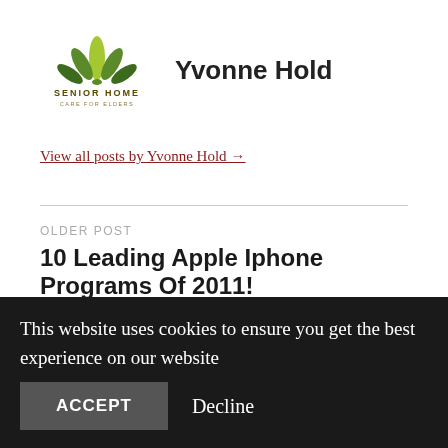[Figure (logo): Senior Home Care for Elders logo with green leaf design]
Yvonne Hold
View all posts by Yvonne Hold →
OLDER POST
10 Leading Apple Iphone Programs Of 2011!
NEWER POST
This website uses cookies to ensure you get the best experience on our website
ACCEPT
Decline